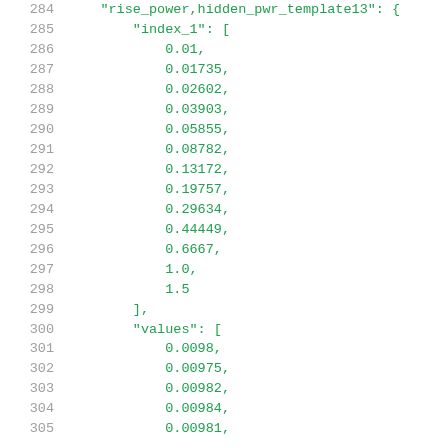284    "rise_power,hidden_pwr_template13": {
285        "index_1": [
286            0.01,
287            0.01735,
288            0.02602,
289            0.03903,
290            0.05855,
291            0.08782,
292            0.13172,
293            0.19757,
294            0.29634,
295            0.44449,
296            0.6667,
297            1.0,
298            1.5
299        ],
300        "values": [
301            0.0098,
302            0.00975,
303            0.00982,
304            0.00984,
305            0.00981,